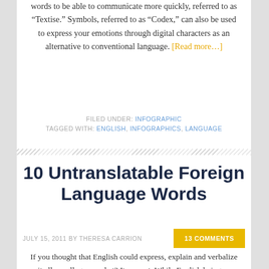words to be able to communicate more quickly, referred to as “Textise.” Symbols, referred to as “Codex,” can also be used to express your emotions through digital characters as an alternative to conventional language. [Read more…]
FILED UNDER: INFOGRAPHIC
TAGGED WITH: ENGLISH, INFOGRAPHICS, LANGUAGE
10 Untranslatable Foreign Language Words
JULY 15, 2011 BY THERESA CARRION   13 COMMENTS
If you thought that English could express, explain and verbalize it all – well, guess what? It can not. While English being as comprehensive and vast as we know it to be, there are words from other foreign languages which